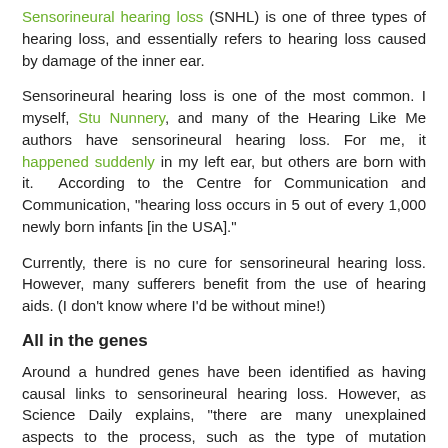Sensorineural hearing loss (SNHL) is one of three types of hearing loss, and essentially refers to hearing loss caused by damage of the inner ear.
Sensorineural hearing loss is one of the most common. I myself, Stu Nunnery, and many of the Hearing Like Me authors have sensorineural hearing loss. For me, it happened suddenly in my left ear, but others are born with it. According to the Centre for Communication and Communication, "hearing loss occurs in 5 out of every 1,000 newly born infants [in the USA]."
Currently, there is no cure for sensorineural hearing loss. However, many sufferers benefit from the use of hearing aids. (I don't know where I'd be without mine!)
All in the genes
Around a hundred genes have been identified as having causal links to sensorineural hearing loss. However, as Science Daily explains, "there are many unexplained aspects to the process, such as the type of mutation occurring in these genes, and how this causes hearing impairment. DFNA1 was first suggested as a causative gene for this in 1997, but doubts were cast regarding its universality and properties." ('Nonsyndromic' means 'not associated with other signs and symptoms'.)